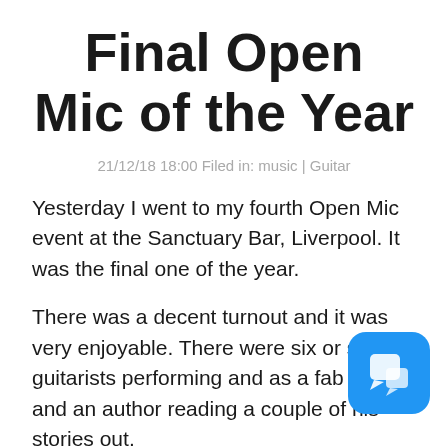Final Open Mic of the Year
21/12/18 18:00 Filed in: music | Guitar
Yesterday I went to my fourth Open Mic event at the Sanctuary Bar, Liverpool. It was the final one of the year.
There was a decent turnout and it was very enjoyable. There were six or seven guitarists performing and as a fab poet and an author reading a couple of his stories out.